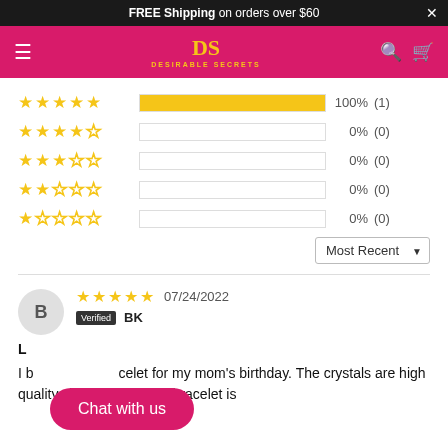FREE Shipping on orders over $60
[Figure (logo): Desirable Secrets logo on pink/magenta navbar with DS monogram and search/cart icons]
[Figure (bar-chart): Star rating distribution]
Most Recent (1)
07/24/2022
Verified BK
I b... celet for my mom's birthday. The crystals are high quality, the design of the bracelet is